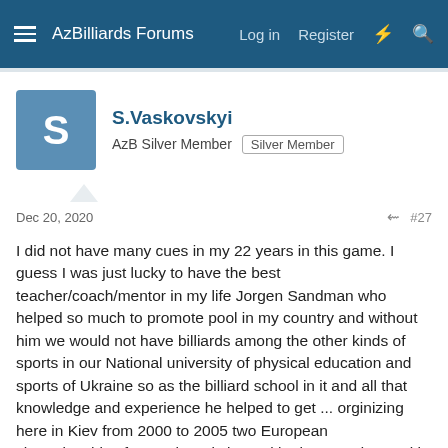AzBilliards Forums  Log in  Register
S.Vaskovskyi
AzB Silver Member  Silver Member
Dec 20, 2020  #27
I did not have many cues in my 22 years in this game. I guess I was just lucky to have the best teacher/coach/mentor in my life Jorgen Sandman who helped so much to promote pool in my country and without him we would not have billiards among the other kinds of sports in our National university of physical education and sports of Ukraine so as the billiard school in it and all that knowledge and experience he helped to get ... orginizing here in Kiev from 2000 to 2005 two European championships for youth, Artistic Pool both EC and WC with such great ambassadors as Mike Massey, Tom Rossman and others and so much more to remember.
So in our billiard school we had a bunch of 20$ house cues in the amount enough for a group of students learning there. We